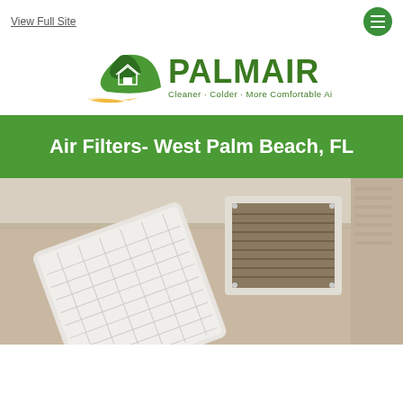View Full Site
[Figure (logo): Palm Air logo with green leaf and house icon, text PALMAIR, tagline Cleaner + Colder + More Comfortable Air]
Air Filters- West Palm Beach, FL
[Figure (photo): Photo of an air filter being removed from a wall vent, showing a dirty filter and the vent frame mounted on a wall]